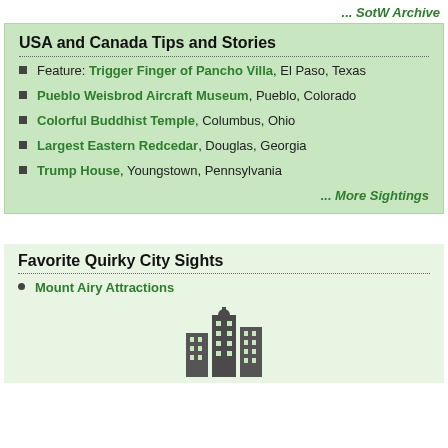... SotW Archive
USA and Canada Tips and Stories
Feature: Trigger Finger of Pancho Villa, El Paso, Texas
Pueblo Weisbrod Aircraft Museum, Pueblo, Colorado
Colorful Buddhist Temple, Columbus, Ohio
Largest Eastern Redcedar, Douglas, Georgia
Trump House, Youngstown, Pennsylvania
... More Sightings
Favorite Quirky City Sights
Mount Airy Attractions
[Figure (illustration): City skyline silhouette icon in dark gray]